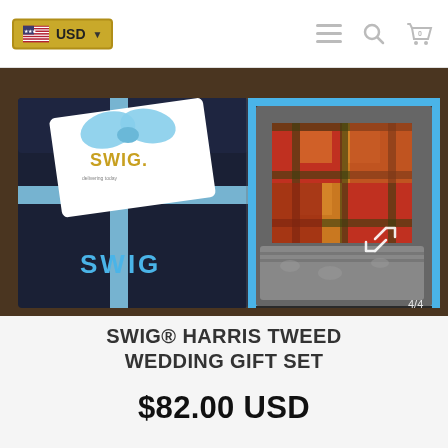USD | navigation icons (menu, search, cart with 0)
[Figure (photo): Left: a dark navy gift box with a light blue ribbon bow and a white SWIG branded card on top, with 'SWIG' text visible in blue on the box. Right: an open gift box containing a Harris Tweed item with red/orange/yellow plaid pattern textile and a gray bandana/cloth, presented in foam packaging with a blue trim. Image counter shows 4/4 with expand arrows in corner.]
SWIG® HARRIS TWEED WEDDING GIFT SET
$82.00 USD